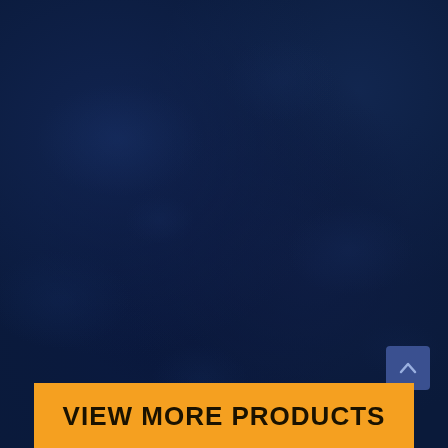[Figure (illustration): Dark navy blue textured background with subtle mottled pattern resembling brushed or aged surface]
VIEW MORE PRODUCTS
[Figure (other): Blue square scroll-to-top button with upward chevron arrow icon in the bottom right corner]